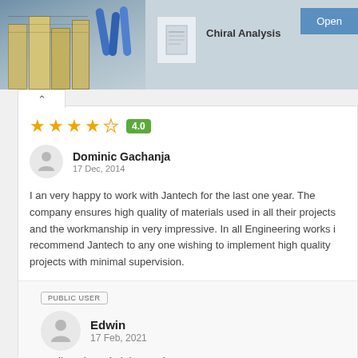[Figure (photo): Top banner with a photo of laboratory binders/files and blue test tubes on the left, a small thumbnail image in the center, text 'Chiral Analysis' and an 'Open' button on the right]
Chiral Analysis
Open
[Figure (infographic): Star rating showing 4 filled stars and 1 empty star with a green badge showing 4.0]
Dominic Gachanja
17 Dec, 2014
I an very happy to work with Jantech for the last one year. The company ensures high quality of materials used in all their projects and the workmanship in very impressive. In all Engineering works i recommend Jantech to any one wishing to implement high quality projects with minimal supervision.
PUBLIC USER
Edwin
17 Feb, 2021
Hello, where is it located